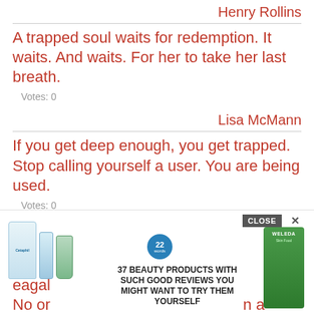Henry Rollins
A trapped soul waits for redemption. It waits. And waits. For her to take her last breath.
Votes: 0
Lisa McMann
If you get deep enough, you get trapped. Stop calling yourself a user. You are being used.
Votes: 0
Jaron Lanier
I always hated being a child. I always felt like an ad...
[Figure (screenshot): Advertisement overlay showing beauty products with text '37 BEAUTY PRODUCTS WITH SUCH GOOD REVIEWS YOU MIGHT WANT TO TRY THEM YOURSELF' and a CLOSE button]